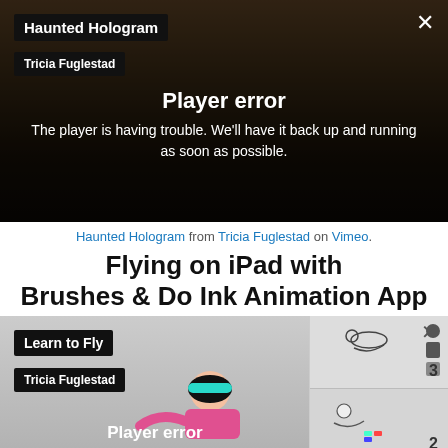[Figure (screenshot): Video player showing error state for 'Haunted Hologram' by Tricia Fuglestad, with dark background and 'Player error' message overlay]
Haunted Hologram from Tricia Fuglestad on Vimeo.
Flying on iPad with Brushes & Do Ink Animation App
[Figure (screenshot): Second video player in error state for 'Learn to Fly' by Tricia Fuglestad, with animation character visible and panel on right showing thumbnails]